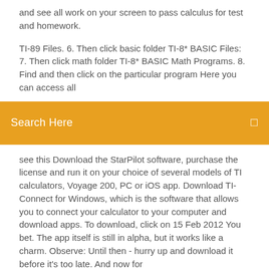and see all work on your screen to pass calculus for test and homework.
TI-89 Files. 6. Then click basic folder TI-8* BASIC Files: 7. Then click math folder TI-8* BASIC Math Programs. 8. Find and then click on the particular program  Here you can access all
[Figure (other): Search bar with orange background and text 'Search Here' with a small icon on the right]
see this  Download the StarPilot software, purchase the license and run it on your choice of several models of TI calculators, Voyage 200, PC or iOS app. Download TI-Connect for Windows, which is the software that allows you to connect your calculator to your computer and download apps. To download, click on  15 Feb 2012 You bet. The app itself is still in alpha, but it works like a charm. Observe: Until then - hurry up and download it before it's too late. And now for
Download and Install TI Connect version 4.1: